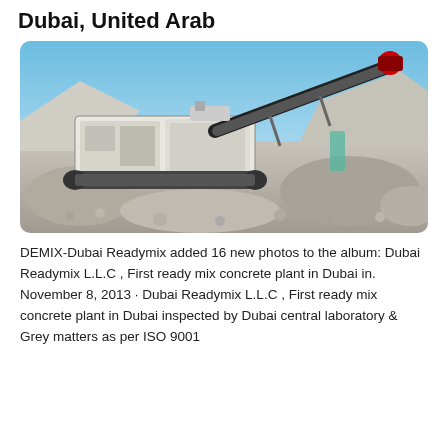Dubai, United Arab
[Figure (photo): A large industrial mobile rock crushing machine on a construction or quarrying site, surrounded by crushed stone and gravel, under a blue sky.]
DEMIX-Dubai Readymix added 16 new photos to the album: Dubai Readymix L.L.C , First ready mix concrete plant in Dubai in. November 8, 2013 · Dubai Readymix L.L.C , First ready mix concrete plant in Dubai inspected by Dubai central laboratory & Grey matters as per ISO 9001